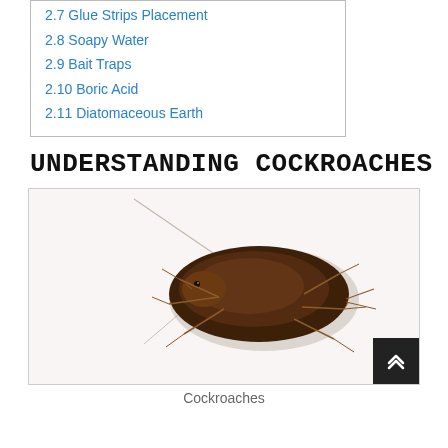2.7 Glue Strips Placement
2.8 Soapy Water
2.9 Bait Traps
2.10 Boric Acid
2.11 Diatomaceous Earth
UNDERSTANDING COCKROACHES
[Figure (photo): Photograph of a cockroach (American cockroach) on a light background, viewed from above, showing antennae, legs, and dark brown body.]
Cockroaches